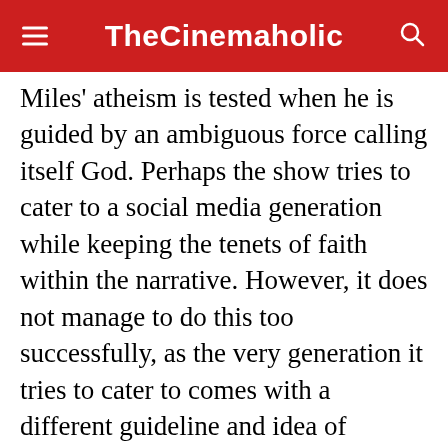TheCinemaholic
Miles' atheism is tested when he is guided by an ambiguous force calling itself God. Perhaps the show tries to cater to a social media generation while keeping the tenets of faith within the narrative. However, it does not manage to do this too successfully, as the very generation it tries to cater to comes with a different guideline and idea of morality than the one that god or traditional religion could ever preach. In its dramatization and character portrayal as well, things are not too fleshed out, but the show truly shines when it embraces its own cheesiness and the ludicrousness of the